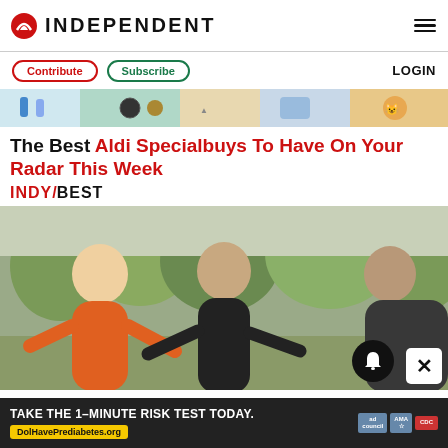INDEPENDENT
Contribute  Subscribe  LOGIN
[Figure (photo): Advertisement banner strip at top showing various product images]
The Best Aldi Specialbuys To Have On Your Radar This Week
INDY/BEST
[Figure (photo): Three women in athletic wear exercising outdoors in a park, smiling]
TAKE THE 1-MINUTE RISK TEST TODAY. DolHavePrediabetes.org